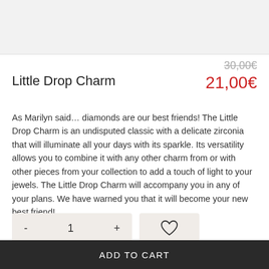[Figure (photo): Product image area (top, grey background)]
Little Drop Charm
30,00€ (strikethrough) / 21,00€ (red)
As Marilyn said… diamonds are our best friends! The Little Drop Charm is an undisputed classic with a delicate zirconia that will illuminate all your days with its sparkle. Its versatility allows you to combine it with any other charm from or with other pieces from your collection to add a touch of light to your jewels. The Little Drop Charm will accompany you in any of your plans. We have warned you that it will become your new best friend!
- 1 + [quantity control] [heart/wishlist button]
ADD TO CART